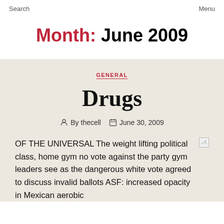Search    Menu
Month: June 2009
GENERAL
Drugs
By thecell    June 30, 2009
OF THE UNIVERSAL The weight lifting political class, home gym no vote against the party gym leaders see as the dangerous white vote agreed to discuss invalid ballots ASF: increased opacity in Mexican aerobic